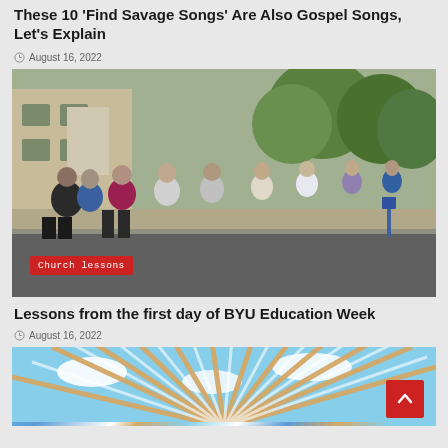These 10 'Find Savage Songs' Are Also Gospel Songs, Let's Explain
August 16, 2022
[Figure (photo): A large group of people walking along a campus path on a sunny day, with trees and buildings in the background. A red badge in the lower left reads 'Church lessons'.]
Lessons from the first day of BYU Education Week
August 16, 2022
[Figure (photo): Close-up view of a structural canopy or roof with radiating wooden or metal beams against a blue sky with white clouds.]